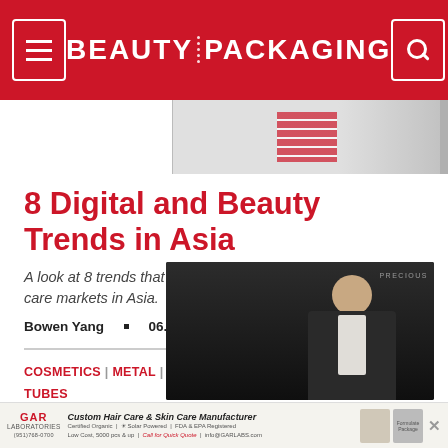BEAUTY PACKAGING
[Figure (screenshot): Partial advertisement banner at top right]
8 Digital and Beauty Trends in Asia
A look at 8 trends that are impacting the beauty and personal care markets in Asia.
Bowen Yang • 06.27.19
COSMETICS | METAL | PLASTICS | SKIN CARE/SUN CARE | TUBES
[Figure (photo): Video thumbnail showing a person in a dark suit against a dark background with text overlay]
[Figure (photo): GAR Laboratories advertisement banner at bottom - Custom Hair Care & Skin Care Manufacturer]